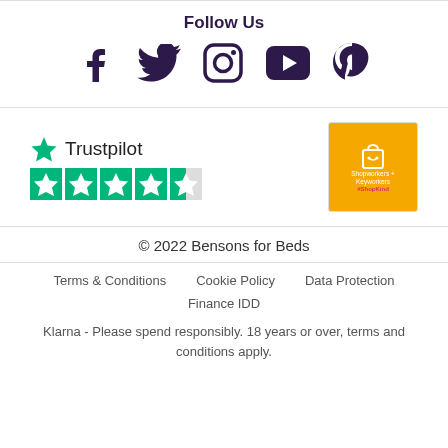Follow Us
[Figure (illustration): Social media icons: Facebook, Twitter, Instagram, YouTube, Pinterest in dark purple]
[Figure (logo): Trustpilot logo with green star and 4.5 star rating in green]
[Figure (logo): ShopKind badge - yellow square with shopping bag icon, text Shopworkers + Keyworkers #ShopKind]
© 2022 Bensons for Beds
Terms & Conditions
Cookie Policy
Data Protection
Finance IDD
Klarna - Please spend responsibly. 18 years or over, terms and conditions apply.